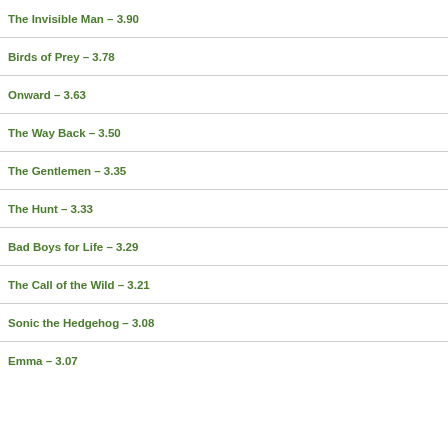The Invisible Man – 3.90
Birds of Prey – 3.78
Onward – 3.63
The Way Back – 3.50
The Gentlemen – 3.35
The Hunt – 3.33
Bad Boys for Life – 3.29
The Call of the Wild – 3.21
Sonic the Hedgehog – 3.08
Emma – 3.07